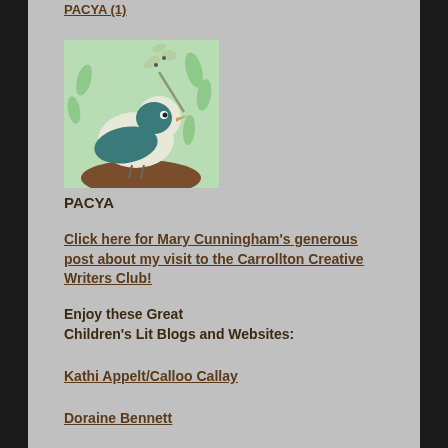PACYA (1)
[Figure (illustration): Illustration of a stylized teal bird perched on a brown mound, holding a white branch with leaves, against a mint green background with leaf motifs]
PACYA
Click here for Mary Cunningham's generous post about my visit to the Carrollton Creative Writers Club!
Enjoy these Great Children's Lit Blogs and Websites:
Kathi Appelt/Calloo Callay
Doraine Bennett